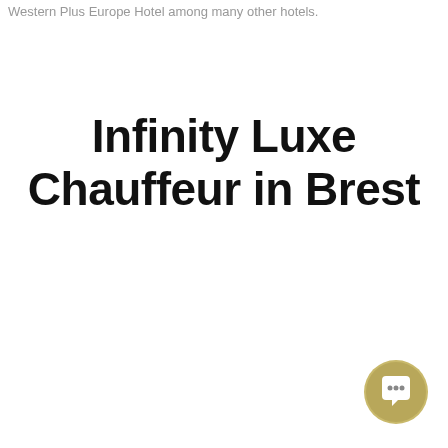Western Plus Europe Hotel among many other hotels.
Infinity Luxe Chauffeur in Brest